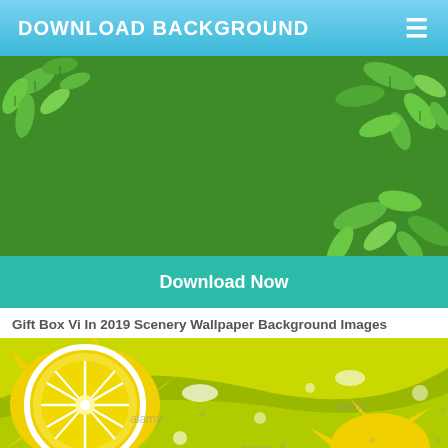DOWNLOAD BACKGROUND
[Figure (illustration): Green background image with decorative leaves in corners — nature/foliage themed wallpaper preview]
Download Now
Gift Box Vi In 2019 Scenery Wallpaper Background Images
[Figure (illustration): Yellow and green citrus/lemon splash background image with lemon slice and juice splatter, watermarked with 'alamy']